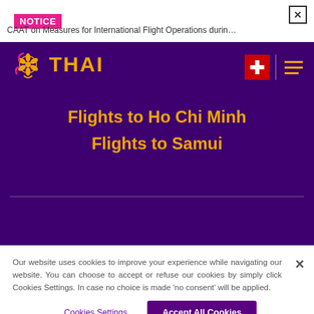NOTICE
CAAT on Measures for International Flight Operations durin…
[Figure (logo): Thai Airways logo with golden lotus flower icon and THAI text in gold on purple background]
Flights to Ho Chi Minh
Flights to Samui
Our website uses cookies to improve your experience while navigating our website. You can choose to accept or refuse our cookies by simply click Cookies Settings. In case no choice is made 'no consent' will be applied.
Cookies Settings
Accept All Cookies